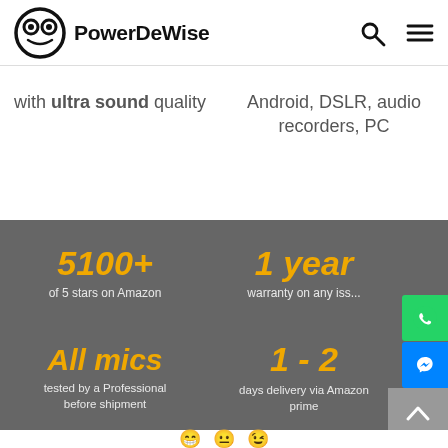PowerDeWise
with ultra sound quality
Android, DSLR, audio recorders, PC
5100+
of 5 stars on Amazon
1 year
warranty on any iss...
All mics
tested by a Professional before shipment
1 - 2
days delivery via Amazon prime
[Figure (illustration): Three emoji faces at bottom of page]